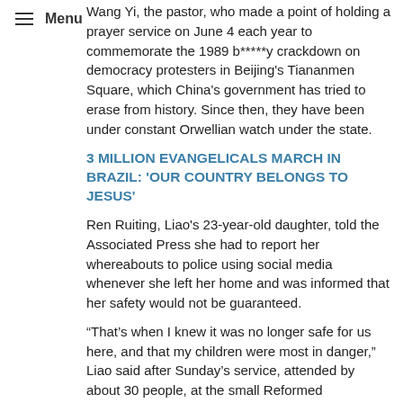Menu
Wang Yi, the pastor, who made a point of holding a prayer service on June 4 each year to commemorate the 1989 b****y crackdown on democracy protesters in Beijing's Tiananmen Square, which China's government has tried to erase from history. Since then, they have been under constant Orwellian watch under the state.
3 MILLION EVANGELICALS MARCH IN BRAZIL: 'OUR COUNTRY BELONGS TO JESUS'
Ren Ruiting, Liao's 23-year-old daughter, told the Associated Press she had to report her whereabouts to police using social media whenever she left her home and was informed that her safety would not be guaranteed.
“That’s when I knew it was no longer safe for us here, and that my children were most in danger,” Liao said after Sunday’s service, attended by about 30 people, at the small Reformed Presbyterian Xinan Church in Taipei.
ABOUT 80 PERCENT OF WORLD LIVES IN AREAS WHERE RELIGIOUS FREEDOM IS ‘HIGHLY RESTRICTED,’ REPORT SAYS